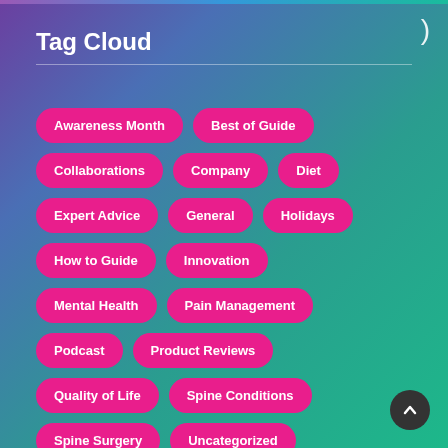Tag Cloud
Awareness Month
Best of Guide
Collaborations
Company
Diet
Expert Advice
General
Holidays
How to Guide
Innovation
Mental Health
Pain Management
Podcast
Product Reviews
Quality of Life
Spine Conditions
Spine Surgery
Uncategorized